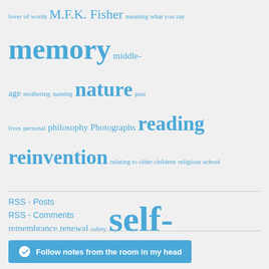[Figure (other): Tag cloud with various blog topic tags in different sizes, all in blue color]
RSS - Posts
RSS - Comments
[Figure (other): WordPress Follow button: Follow notes from the room in my head]